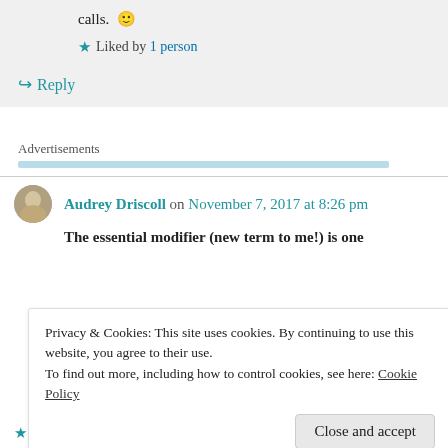calls. 🙂
★ Liked by 1 person
↪ Reply
Advertisements
Audrey Driscoll on November 7, 2017 at 8:26 pm
The essential modifier (new term to me!) is one
Privacy & Cookies: This site uses cookies. By continuing to use this website, you agree to their use.
To find out more, including how to control cookies, see here: Cookie Policy
Close and accept
★ Liked by 1 person